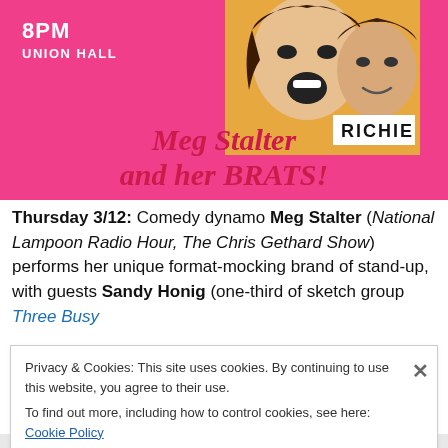[Figure (illustration): Pink event poster for 'Meg Stalter and her BRATS!' showing two people (a woman with open mouth and a man) against an orange background, with '8PM UNION HALL' text, 'RICHIE' label, and the show title in red italic bold text.]
Thursday 3/12: Comedy dynamo Meg Stalter (National Lampoon Radio Hour, The Chris Gethard Show) performs her unique format-mocking brand of stand-up, with guests Sandy Honig (one-third of sketch group Three Busy
Privacy & Cookies: This site uses cookies. By continuing to use this website, you agree to their use.
To find out more, including how to control cookies, see here: Cookie Policy